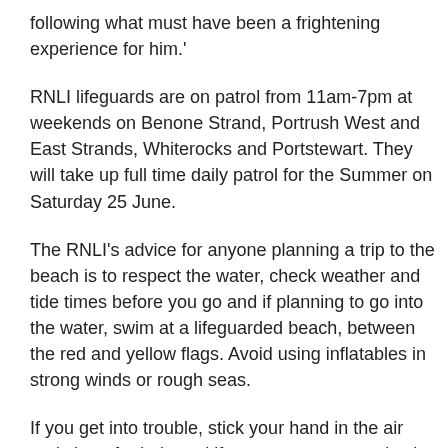following what must have been a frightening experience for him.'
RNLI lifeguards are on patrol from 11am-7pm at weekends on Benone Strand, Portrush West and East Strands, Whiterocks and Portstewart. They will take up full time daily patrol for the Summer on Saturday 25 June.
The RNLI's advice for anyone planning a trip to the beach is to respect the water, check weather and tide times before you go and if planning to go into the water, swim at a lifeguarded beach, between the red and yellow flags. Avoid using inflatables in strong winds or rough seas.
If you get into trouble, stick your hand in the air and shout for help and if you see someone else in trouble, tell a lifeguard. If you can't see a lifeguard, call 909 or 112 and ask for the Coastguard.